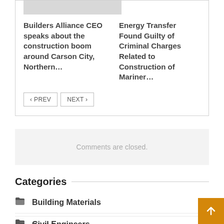[Figure (screenshot): Gray placeholder image bar at top of article card]
Builders Alliance CEO speaks about the construction boom around Carson City, Northern…
Energy Transfer Found Guilty of Criminal Charges Related to Construction of Mariner…
< PREV   NEXT >
Comments are closed.
Categories
Building Materials
Civil Engineers
Civil Data